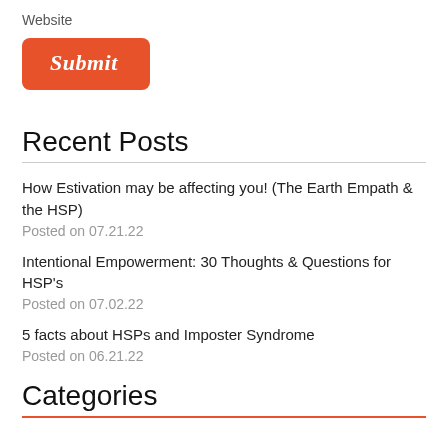Website
[Figure (other): Orange rounded button with italic cursive text 'Submit']
Recent Posts
How Estivation may be affecting you! (The Earth Empath & the HSP)
Posted on 07.21.22
Intentional Empowerment: 30 Thoughts & Questions for HSP's
Posted on 07.02.22
5 facts about HSPs and Imposter Syndrome
Posted on 06.21.22
Categories